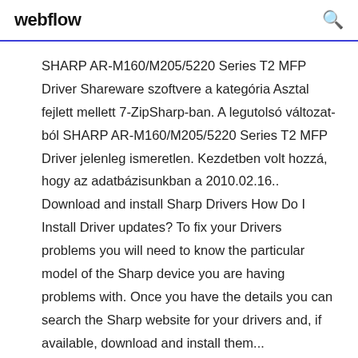webflow
SHARP AR-M160/M205/5220 Series T2 MFP Driver Shareware szoftvere a kategória Asztal fejlett mellett 7-ZipSharp-ban. A legutolsó változat-ból SHARP AR-M160/M205/5220 Series T2 MFP Driver jelenleg ismeretlen. Kezdetben volt hozzá, hogy az adatbázisunkban a 2010.02.16.. Download and install Sharp Drivers How Do I Install Driver updates? To fix your Drivers problems you will need to know the particular model of the Sharp device you are having problems with. Once you have the details you can search the Sharp website for your drivers and, if available, download and install them...